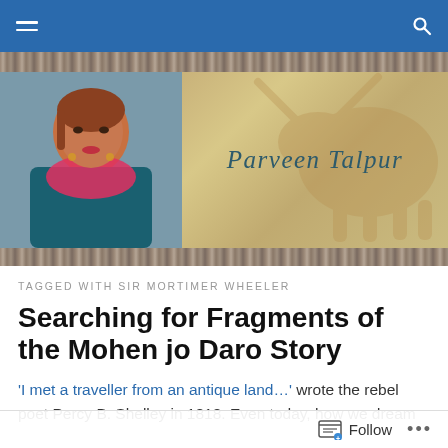Navigation bar with hamburger menu and search icon
[Figure (photo): Blog header banner showing a portrait photo of Parveen Talpur on the left and a golden/sandy background with a decorative bull motif on the right, with the text 'Parveen Talpur' in teal italic serif font]
TAGGED WITH SIR MORTIMER WHEELER
Searching for Fragments of the Mohen jo Daro Story
'I met a traveller from an antique land…' wrote the rebel poet Percy B. Shelley in 1818. Even today, how we dream
Follow